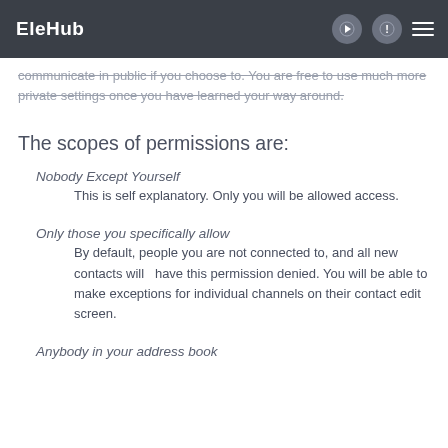EleHub
communicate in public if you choose to. You are free to use much more private settings once you have learned your way around.
The scopes of permissions are:
Nobody Except Yourself
This is self explanatory. Only you will be allowed access.
Only those you specifically allow
By default, people you are not connected to, and all new contacts will   have this permission denied. You will be able to make exceptions for individual channels on their contact edit   screen.
Anybody in your address book